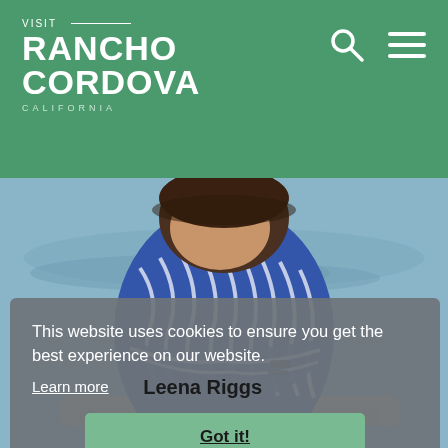VISIT RANCHO CORDOVA CALIFORNIA
[Figure (photo): Woman in blue and white patterned shirt with arms crossed, standing near water with driftwood, outdoor setting]
This website uses cookies to ensure you get the best experience on our website.
Learn more
Leena Riggs
Got it!